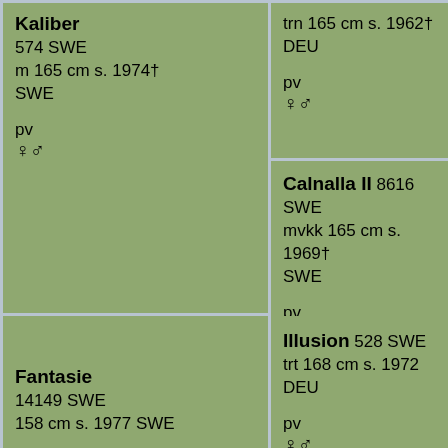Kaliber
574 SWE
m 165 cm s. 1974† SWE

pv
♀♂
trn 165 cm s. 1962† DEU

pv
♀♂
Calnalla II 8616 SWE
mvkk 165 cm s. 1969† SWE

pv
♀♂
Fantasie
14149 SWE
158 cm s. 1977 SWE

pv
♀♂
Illusion 528 SWE
trt 168 cm s. 1972 DEU

pv
♀♂
Funny 11191 SWE
rn 160 cm s. 1973† SWE